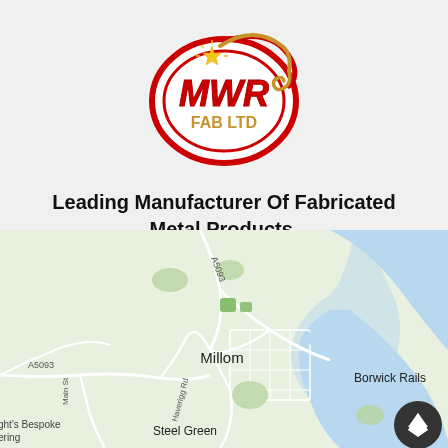[Figure (logo): MWR FAB LTD logo — red oval with red swoosh, gold/yellow MWR text in bold italic, FAB LTD below in gold, spark/welding graphic at top]
Leading Manufacturer Of Fabricated Metal Products.
[Figure (map): Google Maps screenshot showing Millom area in Cumbria, UK. Shows roads A5093, Main St, Haverigg Rd, and labels: Millom, Borwick Rails, Steel Green, and partial text ght's Bespoke ering on left edge. Blue water area on right (estuary). Light green land with white road lines.]